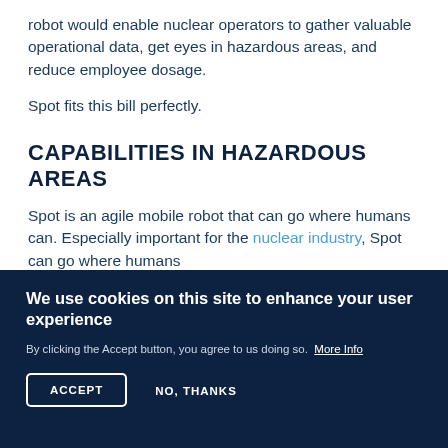robot would enable nuclear operators to gather valuable operational data, get eyes in hazardous areas, and reduce employee dosage.
Spot fits this bill perfectly.
CAPABILITIES IN HAZARDOUS AREAS
Spot is an agile mobile robot that can go where humans can. Especially important for the nuclear industry, Spot can go where humans
We use cookies on this site to enhance your user experience
By clicking the Accept button, you agree to us doing so.  More Info
ACCEPT
NO, THANKS